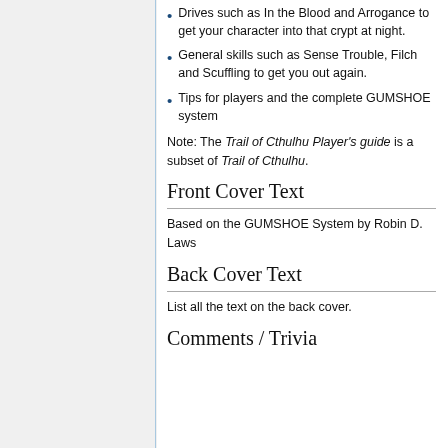Drives such as In the Blood and Arrogance to get your character into that crypt at night.
General skills such as Sense Trouble, Filch and Scuffling to get you out again.
Tips for players and the complete GUMSHOE system
Note: The Trail of Cthulhu Player's guide is a subset of Trail of Cthulhu.
Front Cover Text
Based on the GUMSHOE System by Robin D. Laws
Back Cover Text
List all the text on the back cover.
Comments / Trivia